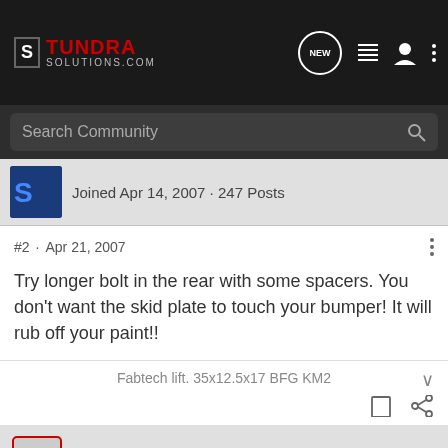TUNDRA SOLUTIONS.COM
Search Community
Joined Apr 14, 2007 · 247 Posts
#2 · Apr 21, 2007
Try longer bolt in the rear with some spacers. You don't want the skid plate to touch your bumper! It will rub off your paint!!
Fabtech lift. 35x12.5x17 BFG KM2
lelandstanford · Premium Member